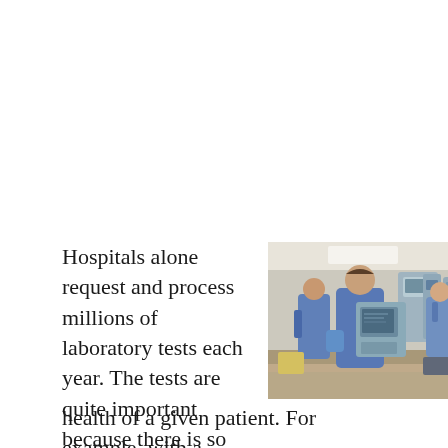Hospitals alone request and process millions of laboratory tests each year. The tests are quite important because there is so much information that can be learned about the health of a given patient. For example, with a
[Figure (photo): Three laboratory workers wearing blue scrubs and gloves operating medical laboratory equipment and analyzers in a clinical lab setting.]